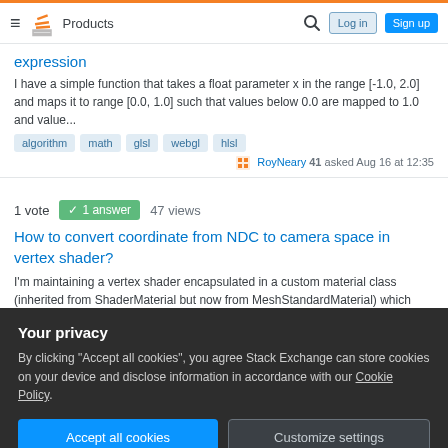≡  [StackOverflow logo]  Products  🔍  Log in  Sign up
expression
I have a simple function that takes a float parameter x in the range [-1.0, 2.0] and maps it to range [0.0, 1.0] such that values below 0.0 are mapped to 1.0 and value...
algorithm
math
glsl
webgl
hlsl
RoyNeary 41 asked Aug 16 at 12:35
1 vote  ✓ 1 answer  47 views
How to convert coordinate from NDC to camera space in vertex shader?
I'm maintaining a vertex shader encapsulated in a custom material class (inherited from ShaderMaterial but now from MeshStandardMaterial) which convert 3D...
Your privacy
By clicking "Accept all cookies", you agree Stack Exchange can store cookies on your device and disclose information in accordance with our Cookie Policy.
Accept all cookies
Customize settings
I'm using GLSL shaders with 3D texture data in WebGL2 code via TypeScript. My